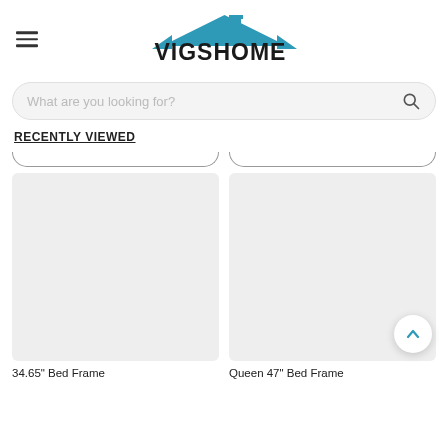VIGSHOME
What are you looking for?
RECENTLY VIEWED
[Figure (photo): Gray placeholder image for 34.65" Bed Frame product]
[Figure (photo): Gray placeholder image for Queen 47" Bed Frame product]
34.65" Bed Frame
Queen 47" Bed Frame